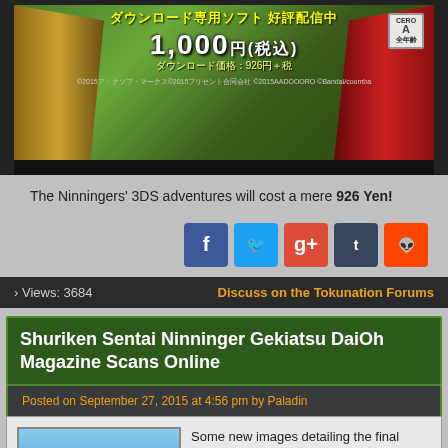[Figure (photo): Japanese 3DS game advertisement banner showing armored characters, price 1,000 yen (926 yen download price), with CERO A rating badge]
The Ninningers' 3DS adventures will cost a mere 926 Yen!
[Figure (infographic): Social sharing buttons row: Facebook (blue), Twitter (cyan), Google+ (red), Tumblr (dark blue), Reddit (orange)]
› Views: 3684
Discuss on the Tokunation Forums
Shuriken Sentai Ninninger Gekiatsu DaiOh Magazine Scans Online
Posted on September 27, 2015 at 4:56 pm by Paladin
[Figure (photo): Magazine scan thumbnail showing Gekiatsu DaiOh orange and blue mecha robot]
Some new images detailing the final piece of the Shuriken Sentai Ninninger arsenal have been posted online!

This is our best look yet at the mighty Gekiatsu DaiOh, an orange and blue Mecha created by fusing six new Otomo-